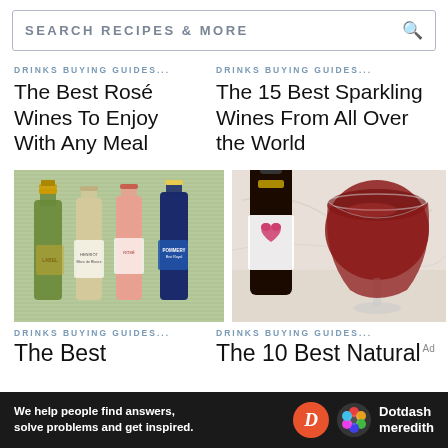SEARCH RECIPES & MORE
DRINKS BUYING GUIDES...
The Best Rosé Wines To Enjoy With Any Meal
DRINKS BUYING GUIDES...
The 15 Best Sparkling Wines From All Over the World
[Figure (photo): Four sparkling wine bottles on a green background: green bottle, white bottle labeled Henriot, pink bottle, blue bottle labeled Pommery]
[Figure (photo): A dark red wine bottle with a heart label next to a full glass of red wine on a light marble surface]
DRINKS BUYING GUIDES...
The Best
DRINKS BUYING GUIDES...
The 10 Best Natural
We help people find answers, solve problems and get inspired.
Dotdash meredith